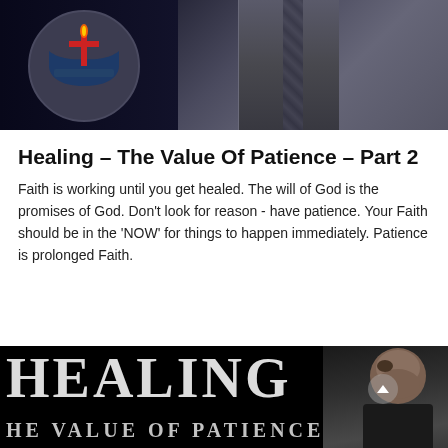[Figure (photo): Dark background image with a church/ministry logo circle on the left and a man in a suit on the right]
Healing – The Value Of Patience – Part 2
Faith is working until you get healed. The will of God is the promises of God. Don't look for reason - have patience. Your Faith should be in the 'NOW' for things to happen immediately. Patience is prolonged Faith.
[Figure (photo): Dark promotional image with large white text reading HEALING and THE VALUE OF PATIENCE, with a bald man visible on the right side]